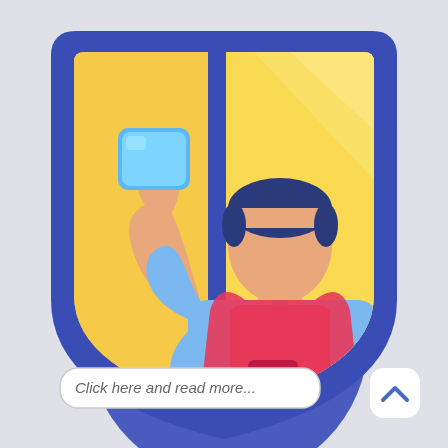[Figure (illustration): A flat illustration showing a cleaning service worker (faceless man with dark hair) wearing a blue shirt and red apron, holding a blue cleaning cloth/sponge raised up against a window. The scene is set inside a shield-shaped badge with dark blue border and yellow/golden background with diagonal light rays. A blue circle is partially visible behind the shield. In the lower left, a rounded rectangle button reads 'Click here and read more...' In the lower right, a white rounded square with a blue upward chevron arrow icon.]
Click here and read more...